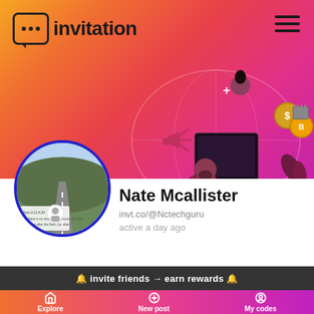[Figure (screenshot): App screenshot showing invitation app profile page with gradient orange-to-pink banner, illustration of person at computer with coins and another person floating above, profile section with avatar, name Nate Mcallister, URL invt.co/@Nctechguru, active status, invite bar, and bottom navigation]
invitation
Nate Mcallister
invt.co/@Nctechguru
active a day ago
🔔 invite friends → earn rewards 🔔
Explore
New post
My codes